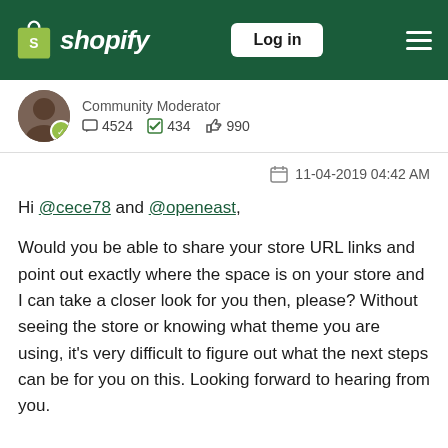Shopify — Log in
Community Moderator  □ 4524  ✓ 434  👍 990
11-04-2019 04:42 AM
Hi @cece78 and @openeast,

Would you be able to share your store URL links and point out exactly where the space is on your store and I can take a closer look for you then, please? Without seeing the store or knowing what theme you are using, it's very difficult to figure out what the next steps can be for you on this. Looking forward to hearing from you.